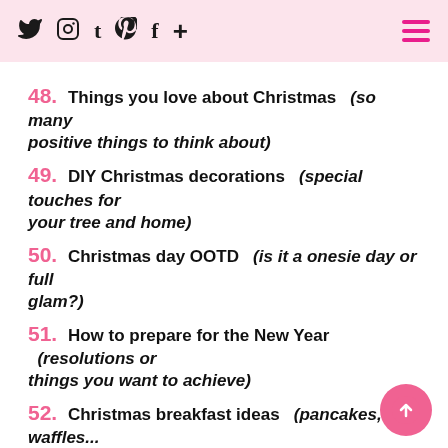Social icons: Twitter, Instagram, Tumblr, Pinterest, Facebook, Plus | Hamburger menu
48.  Things you love about Christmas   (so many positive things to think about)
49.  DIY Christmas decorations   (special touches for your tree and home)
50.  Christmas day OOTD   (is it a onesie day or full glam?)
51.  How to prepare for the New Year   (resolutions or things you want to achieve)
52.  Christmas breakfast ideas   (pancakes, waffles...